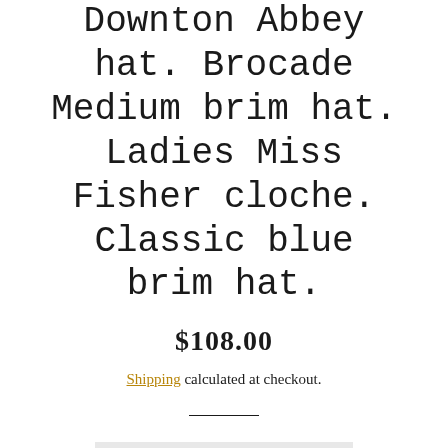Downton Abbey hat. Brocade Medium brim hat. Ladies Miss Fisher cloche. Classic blue brim hat.
$108.00
Shipping calculated at checkout.
SOLD OUT
Make a statement with "Hermoine," a classic medium brim cloche hat inspired by the Miss Fisher murder mysteries. It